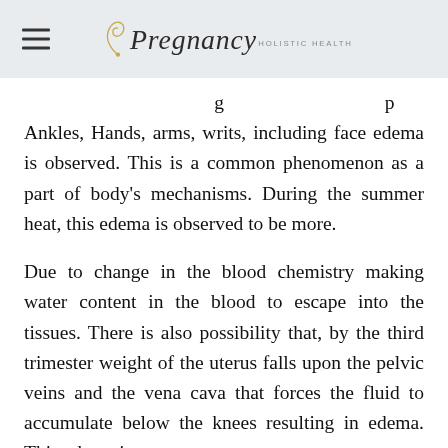Pregnancy Holistic Health
…g p y Ankles, Hands, arms, writs, including face edema is observed. This is a common phenomenon as a part of body's mechanisms. During the summer heat, this edema is observed to be more.
Due to change in the blood chemistry making water content in the blood to escape into the tissues. There is also possibility that, by the third trimester weight of the uterus falls upon the pelvic veins and the vena cava that forces the fluid to accumulate below the knees resulting in edema. This edema is … after the 20th …